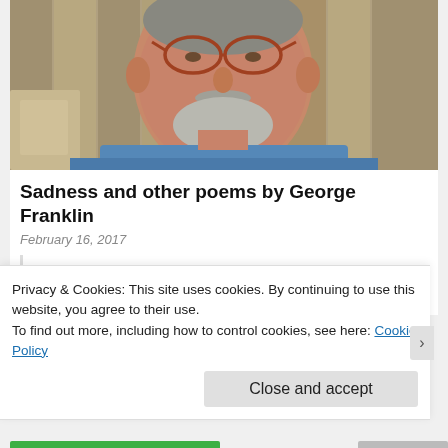[Figure (photo): Close-up photo of an older man with glasses, a gray beard and mustache, wearing a blue t-shirt, standing in front of a wooden fence.]
Sadness and other poems by George Franklin
February 16, 2017
I talk about sadness as though she were a dinner guest Who's overstayed her welcome. It's one in the morning
Privacy & Cookies: This site uses cookies. By continuing to use this website, you agree to their use.
To find out more, including how to control cookies, see here: Cookie Policy
Close and accept